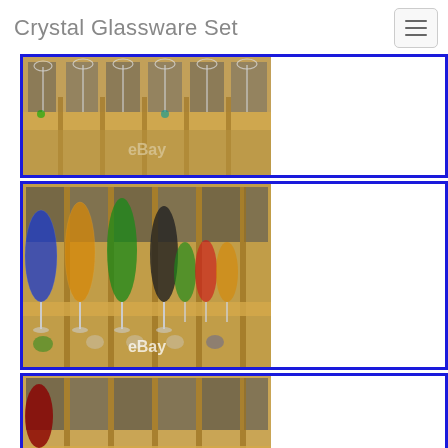Crystal Glassware Set
[Figure (photo): Crystal glassware set displayed upside down on a wooden rack, showing clear wine glasses from below. eBay watermark visible.]
[Figure (photo): Colorful crystal cut-to-clear wine glasses in multiple colors (blue, amber, green, black, green, red, amber) standing on a wooden shelf. eBay watermark visible.]
[Figure (photo): Crystal glassware set showing colored glasses (red/maroon, purple, green, red, amber, blue) on a wooden shelf, partial view.]